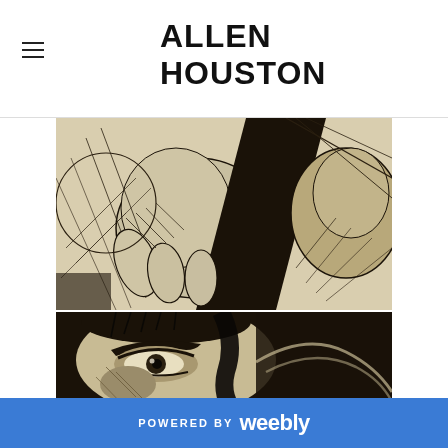ALLEN HOUSTON
[Figure (illustration): Black and white ink illustration showing abstract figurative forms with dramatic cross-hatching — close-up of hands and organic shapes on a cream/tan background]
[Figure (illustration): Black and white ink illustration showing a close-up of a man's face with intense eyes and dramatic shading, rendered in expressive ink strokes on dark background]
POWERED BY weebly